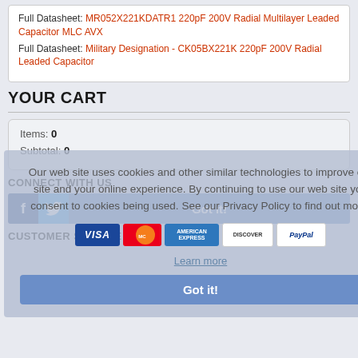Full Datasheet: MR052X221KDATR1 220pF 200V Radial Multilayer Leaded Capacitor MLC AVX
Full Datasheet: Military Designation - CK05BX221K 220pF 200V Radial Leaded Capacitor
YOUR CART
Items: 0
Subtotal: 0
Our web site uses cookies and other similar technologies to improve our site and your online experience. By continuing to use our web site you consent to cookies being used. See our Privacy Policy to find out more.
Learn more
CONNECT WITH US
Got it!
CUSTOMER SERVICE